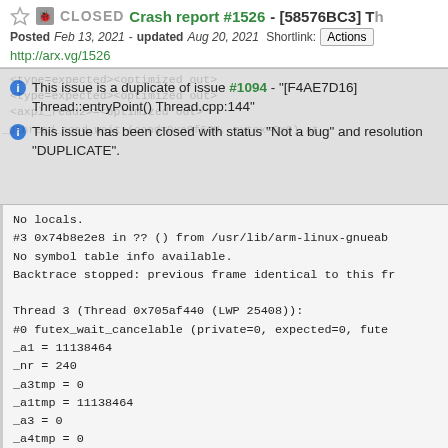CLOSED Crash report #1526 - [58576BC3] Th
Posted Feb 13, 2021 - updated Aug 20, 2021  Shortlink: Actions
http://arx.vg/1526
This issue is a duplicate of issue #1094 - "[F4AE7D16] Thread::entryPoint() Thread.cpp:144"
This issue has been closed with status "Not a bug" and resolution "DUPLICATE".
No locals.
#3  0x74b8e2e8 in ?? () from /usr/lib/arm-linux-gnueab
No symbol table info available.
Backtrace stopped: previous frame identical to this fr

Thread 3 (Thread 0x705af440 (LWP 25408)):
#0  futex_wait_cancelable (private=0, expected=0, fute
        _a1 = 11138464
        _nr = 240
        _a3tmp = 0
        _a1tmp = 11138464
        _a3 = 0
        _a4tmp = 0
        _a2tmp = 128
        _a2 = 128